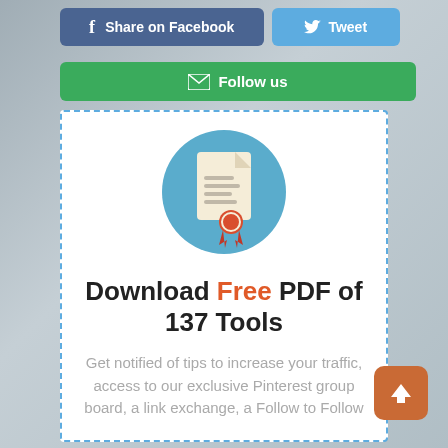[Figure (infographic): Share on Facebook button (dark blue), Tweet button (light blue)]
[Figure (infographic): Follow us button (green with envelope icon)]
[Figure (illustration): Certificate/document icon on a teal circle background]
Download Free PDF of 137 Tools
Get notified of tips to increase your traffic, access to our exclusive Pinterest group board, a link exchange, a Follow to Follow